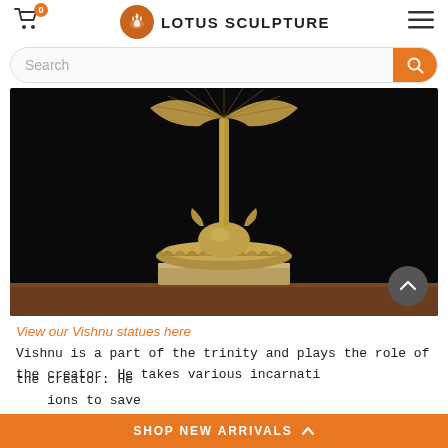LOTUS SCULPTURE
[Figure (photo): Brass/bronze Vishnu statue on an ornate pedestal with a large serpent hood (Shesha naga) spread behind it, photographed against a black background on a wooden surface. The sculpture is detailed with intricate lotus base and decorative elements.]
View our Vishnu statues here
Vishnu is a part of the trinity and plays the role of the creator. He takes various incarnations to save the planet and the hands of